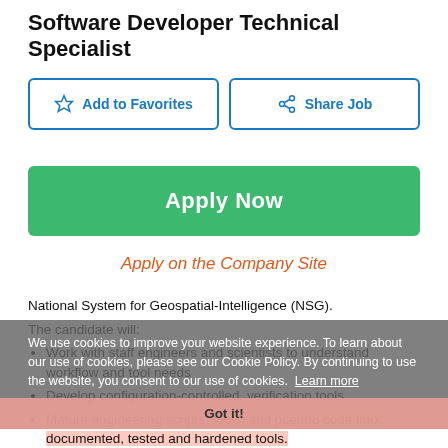Software Developer Technical Specialist
Add to Favorites
Share Job
Apply Now
Apply on the Company Site
National System for Geospatial-Intelligence (NSG).
The candidate will:
Work with staff engineers and scientists to understand workflow and tool needs
Develop configuration-controlled, verification tools
Mature engineering scripts, tools, and pseudo code into documented, tested and hardened tools.
Software and tools develop will be used to verify and validate product visual quality, as well as the
We use cookies to improve your website experience. To learn about our use of cookies, please see our Cookie Policy. By continuing to use the website, you consent to our use of cookies. Learn more
Got it!